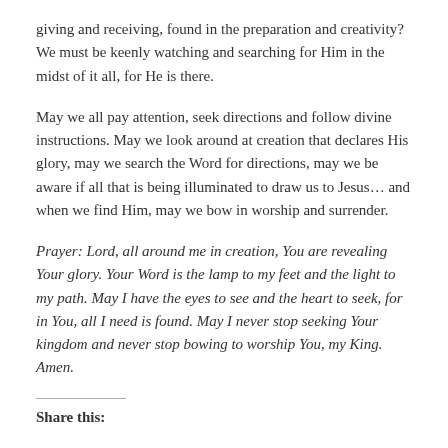giving and receiving, found in the preparation and creativity? We must be keenly watching and searching for Him in the midst of it all, for He is there.
May we all pay attention, seek directions and follow divine instructions. May we look around at creation that declares His glory, may we search the Word for directions, may we be aware if all that is being illuminated to draw us to Jesus… and when we find Him, may we bow in worship and surrender.
Prayer: Lord, all around me in creation, You are revealing Your glory. Your Word is the lamp to my feet and the light to my path. May I have the eyes to see and the heart to seek, for in You, all I need is found. May I never stop seeking Your kingdom and never stop bowing to worship You, my King. Amen.
Share this: